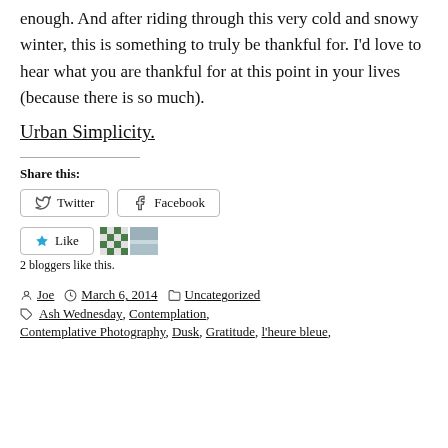enough. And after riding through this very cold and snowy winter, this is something to truly be thankful for. I'd love to hear what you are thankful for at this point in your lives (because there is so much).
Urban Simplicity.
Share this:
[Figure (other): Share buttons for Twitter and Facebook]
[Figure (other): Like button with two blogger avatars]
2 bloggers like this.
by Joe  March 6, 2014  Uncategorized
Ash Wednesday, Contemplation, Contemplative Photography, Dusk, Gratitude, l'heure bleue,